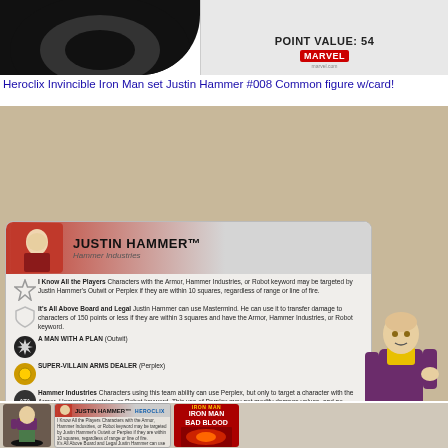[Figure (photo): Top strip showing a dark tire/wheel on the left and a point value card detail on the right showing 'POINT VALUE: 54' with Marvel logo]
Heroclix Invincible Iron Man set Justin Hammer #008 Common figure w/card!
[Figure (photo): Main product photo showing Justin Hammer Heroclix game card and painted miniature figure. Card shows: JUSTIN HAMMER Hammer Industries. Abilities: I Know All the Players, It's All Above Board and Legal, A MAN WITH A PLAN (Outwit), SUPER-VILLAIN ARMS DEALER (Perplex), Hammer Industries ATA. POINT VALUE: 54. Marvel logo. Figure is a painted miniature of Justin Hammer in maroon jacket with yellow scarf on a black base.]
[Figure (photo): Bottom strip showing thumbnail of Justin Hammer figure, Justin Hammer card detail with Heroclix logo, and Iron Man Bad Blood comic book cover]